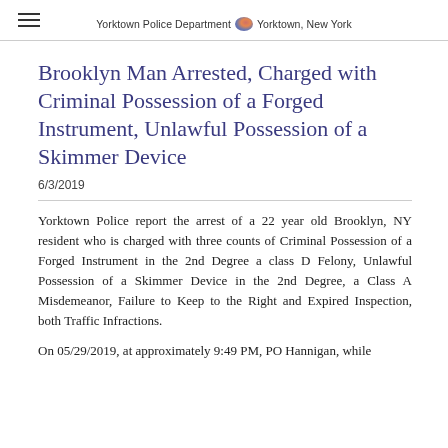Yorktown Police Department – Yorktown, New York
Brooklyn Man Arrested, Charged with Criminal Possession of a Forged Instrument, Unlawful Possession of a Skimmer Device
6/3/2019
Yorktown Police report the arrest of a 22 year old Brooklyn, NY resident who is charged with three counts of Criminal Possession of a Forged Instrument in the 2nd Degree a class D Felony, Unlawful Possession of a Skimmer Device in the 2nd Degree, a Class A Misdemeanor, Failure to Keep to the Right and Expired Inspection, both Traffic Infractions.
On 05/29/2019, at approximately 9:49 PM, PO Hannigan, while